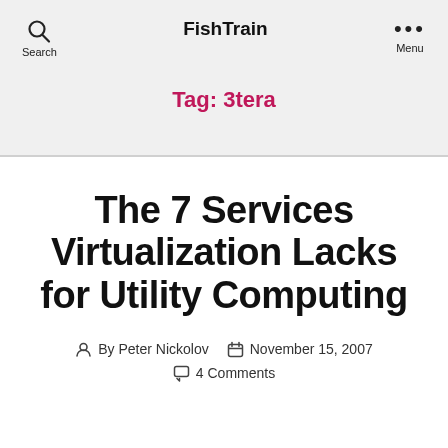FishTrain
Tag: 3tera
The 7 Services Virtualization Lacks for Utility Computing
By Peter Nickolov   November 15, 2007   4 Comments